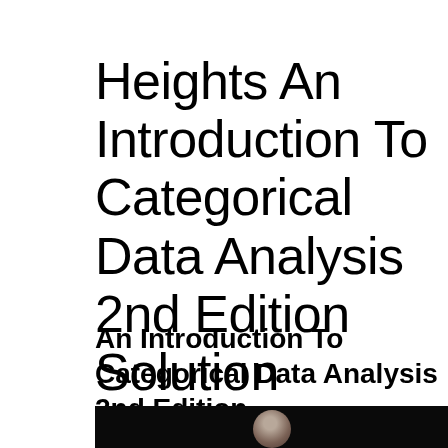Heights An Introduction To Categorical Data Analysis 2nd Edition Solution Manual
An Introduction To Categorical Data Analysis 2nd Edition
[Figure (photo): Partial photo showing a person's head/face against a dark black background, cropped at bottom of page]